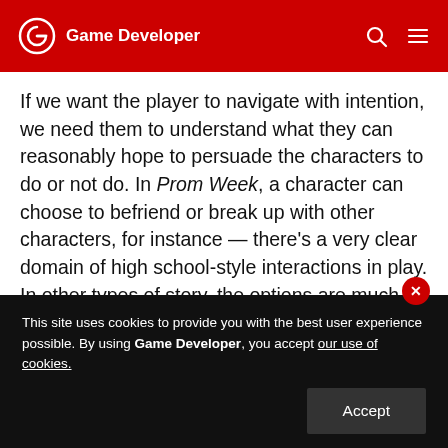Game Developer
If we want the player to navigate with intention, we need them to understand what they can reasonably hope to persuade the characters to do or not do. In Prom Week, a character can choose to befriend or break up with other characters, for instance — there's a very clear domain of high school-style interactions in play. In other types of story, the options are much more situational — in Blood & Laurels, the protagonist is often simply trying to manipulate other characters out of having a reason to kill them.
This site uses cookies to provide you with the best user experience possible. By using Game Developer, you accept our use of cookies.